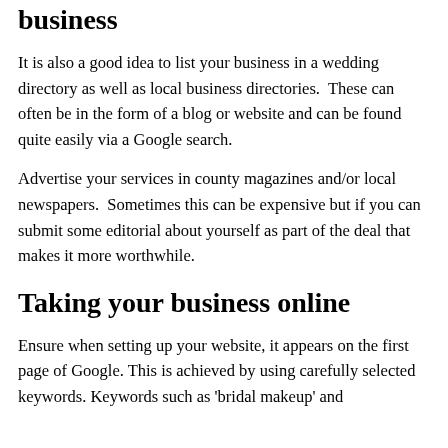business
It is also a good idea to list your business in a wedding directory as well as local business directories.  These can often be in the form of a blog or website and can be found quite easily via a Google search.
Advertise your services in county magazines and/or local newspapers.  Sometimes this can be expensive but if you can submit some editorial about yourself as part of the deal that makes it more worthwhile.
Taking your business online
Ensure when setting up your website, it appears on the first page of Google. This is achieved by using carefully selected keywords. Keywords such as 'bridal makeup' and